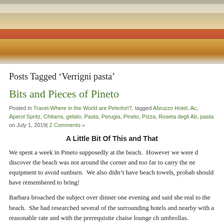[Figure (photo): Close-up photo of a sandwich or bread with a reddish filling, on a light background]
Posts Tagged ‘Verrigni pasta’
Bits and Pieces of Pineto
Posted in Travel-Where in the World are Peterlori?, tagged Abruzzo Hotel, Ac, Aperol Spritz, Chitarra, gelato, Pasta, Perugia, Pineto, Pizza, Roseta degli Ab, pasta on July 1, 2019| 2 Comments »
A Little Bit Of This and That
We spent a week in Pineto supposedly at the beach. However we were d discover the beach was not around the corner and too far to carry the ne equipment to avoid sunburn. We also didn’t have beach towels, probab should have remembered to bring!
Barbara broached the subject over dinner one evening and said she real to the beach. She had researched several of the surrounding hotels and nearby with a reasonable rate and with the prerequisite chaise lounge ch umbrollas.